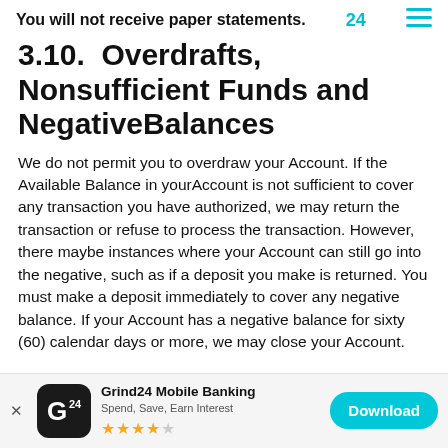You will not receive paper statements.
24
3.10.  Overdrafts, Nonsufficient Funds and NegativeBalances
We do not permit you to overdraw your Account. If the Available Balance in yourAccount is not sufficient to cover any transaction you have authorized, we may return the transaction or refuse to process the transaction. However, there maybe instances where your Account can still go into the negative, such as if a deposit you make is returned. You must make a deposit immediately to cover any negative balance. If your Account has a negative balance for sixty (60) calendar days or more, we may close your Account.
[Figure (infographic): App download banner for Grind24 Mobile Banking app showing app icon, title, subtitle 'Spend, Save, Earn Interest', star rating (4 out of 5 stars), and a Download button]